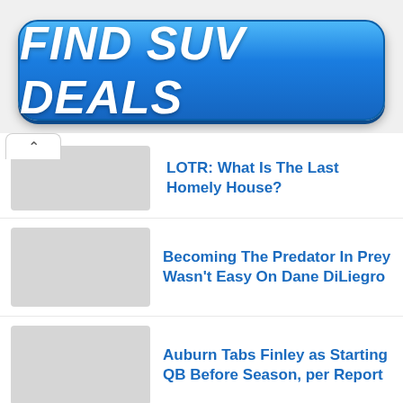[Figure (other): Blue gradient button with bold white italic text 'FIND SUV DEALS']
LOTR: What Is The Last Homely House?
Becoming The Predator In Prey Wasn't Easy On Dane DiLiegro
Auburn Tabs Finley as Starting QB Before Season, per Report
Fun Things to Do at Adventures on the Gorge in West Virginia